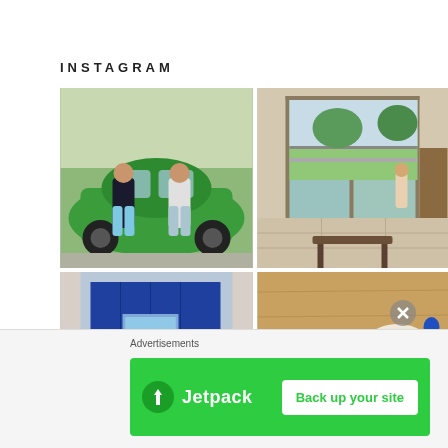INSTAGRAM
[Figure (photo): Two children standing in front of a green vintage Volkswagen Beetle car]
[Figure (photo): Interior room with sliding glass doors opening to a balcony, a child standing near furniture]
[Figure (photo): Blue tiled wall with a small painted scene and a child partially visible]
[Figure (photo): Colorful salad in a bowl on a wooden surface]
Advertisements
[Figure (logo): Jetpack advertisement banner with green background showing Jetpack logo and 'Back up your site' button]